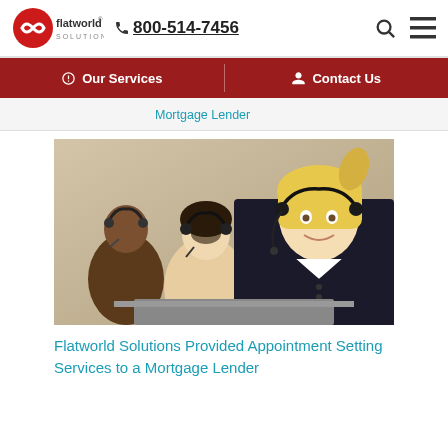flatworld SOLUTIONS  800-514-7456
Our Services  |  Contact Us
Mortgage Lender
[Figure (photo): Three call center agents wearing headsets seated at workstations, smiling and working. Foreground shows a blonde woman in a black jacket, behind her a woman with dark hair, and further back a man smiling.]
Flatworld Solutions Provided Appointment Setting Services to a Mortgage Lender